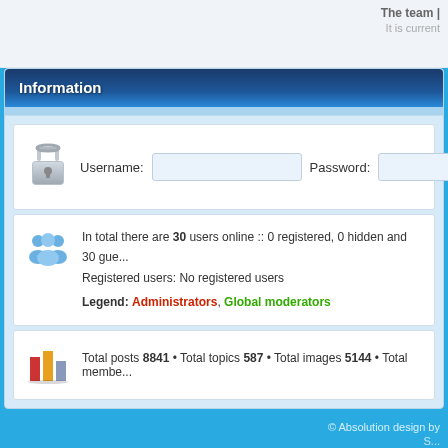The team | It is current
Information
Username: [input] Password: [input]
In total there are 30 users online :: 0 registered, 0 hidden and 30 guests
Registered users: No registered users
Legend: Administrators, Global moderators
Total posts 8841 • Total topics 587 • Total images 5144 • Total members
© Absolution design by